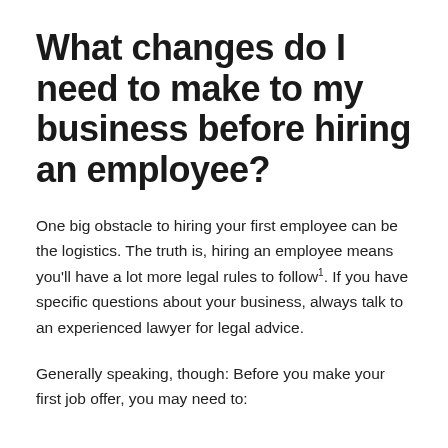What changes do I need to make to my business before hiring an employee?
One big obstacle to hiring your first employee can be the logistics. The truth is, hiring an employee means you'll have a lot more legal rules to follow1. If you have specific questions about your business, always talk to an experienced lawyer for legal advice.
Generally speaking, though: Before you make your first job offer, you may need to: